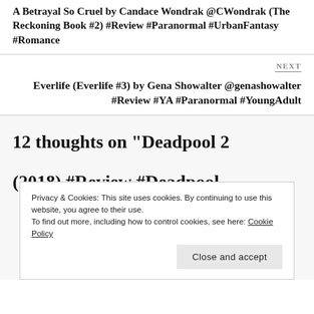A Betrayal So Cruel by Candace Wondrak @CWondrak (The Reckoning Book #2) #Review #Paranormal #UrbanFantasy #Romance
NEXT
Everlife (Everlife #3) by Gena Showalter @genashowalter #Review #YA #Paranormal #YoungAdult
12 thoughts on “Deadpool 2 (2018) #Review #Deadpool…
Privacy & Cookies: This site uses cookies. By continuing to use this website, you agree to their use.
To find out more, including how to control cookies, see here: Cookie Policy
Close and accept